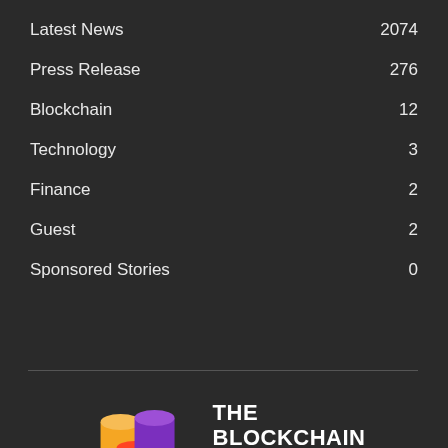Latest News  2074
Press Release  276
Blockchain  12
Technology  3
Finance  2
Guest  2
Sponsored Stories  0
[Figure (logo): The Blockchain Feeds logo with stacked colorful 3D cylinders (orange, red, purple) beside bold white text 'THE BLOCKCHAIN FEEDS']